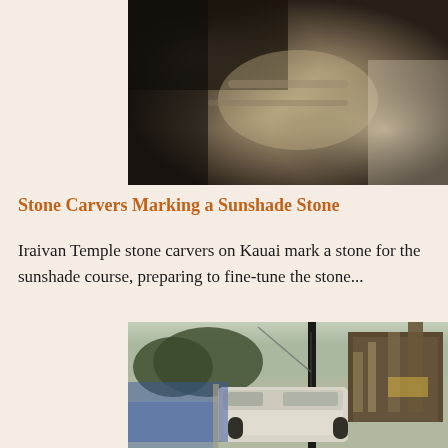[Figure (photo): Close-up photograph of stone carvers' hands marking a sunshade stone, showing rough stone texture and carving tools]
Stone Carvers Marking a Sunshade Stone
Iraivan Temple stone carvers on Kauai mark a stone for the sunshade course, preparing to fine-tune the stone...
[Figure (photo): Outdoor photograph showing a crane or lifting equipment next to a white truck, with wooden scaffolding or structure visible on the right side, trees in the background]